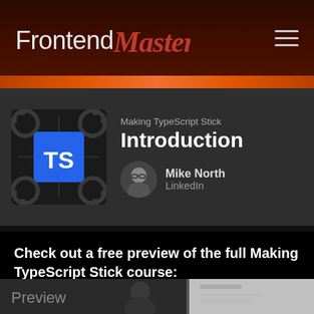Frontend Masters
[Figure (screenshot): Frontend Masters logo with stylized script 'Masters' in red and sans-serif 'Frontend' in white]
[Figure (screenshot): Course thumbnail showing a TypeScript (TS) chip icon with gears on dark background]
Making TypeScript Stick
Introduction
[Figure (photo): Circular avatar photo of Mike North]
Mike North
LinkedIn
Check out a free preview of the full Making TypeScript Stick course:
[Figure (screenshot): Video preview thumbnail showing instructor and text 'Preview' with a play button]